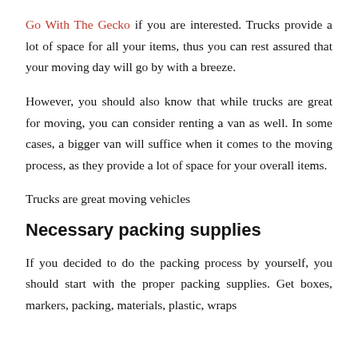Go With The Gecko if you are interested. Trucks provide a lot of space for all your items, thus you can rest assured that your moving day will go by with a breeze.
However, you should also know that while trucks are great for moving, you can consider renting a van as well. In some cases, a bigger van will suffice when it comes to the moving process, as they provide a lot of space for your overall items.
Trucks are great moving vehicles
Necessary packing supplies
If you decided to do the packing process by yourself, you should start with the proper packing supplies. Get boxes, markers, packing, materials, plastic, wraps